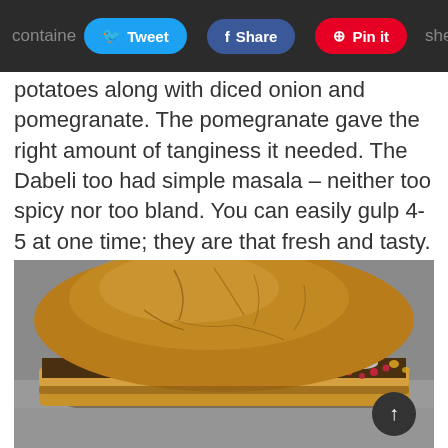contained … [Tweet] [Share] [Pin it] … shed
potatoes along with diced onion and pomegranate. The pomegranate gave the right amount of tanginess it needed. The Dabeli too had simple masala – neither too spicy nor too bland. You can easily gulp 4-5 at one time; they are that fresh and tasty.
[Figure (photo): Close-up photograph of a Dabeli – an Indian street food sandwich with a toasted bun (pav) filled with spiced mashed potato filling, diced onions, and pomegranate seeds visible at the bottom edge.]